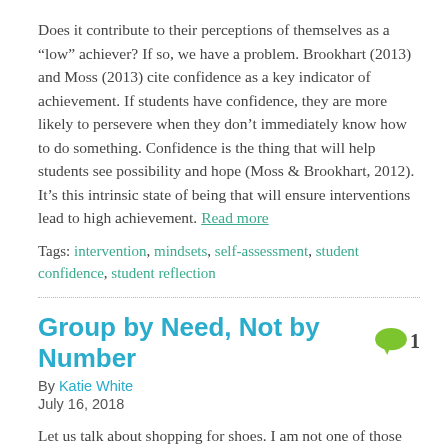Does it contribute to their perceptions of themselves as a “low” achiever? If so, we have a problem. Brookhart (2013) and Moss (2013) cite confidence as a key indicator of achievement. If students have confidence, they are more likely to persevere when they don’t immediately know how to do something. Confidence is the thing that will help students see possibility and hope (Moss & Brookhart, 2012). It’s this intrinsic state of being that will ensure interventions lead to high achievement. Read more
Tags: intervention, mindsets, self-assessment, student confidence, student reflection
Group by Need, Not by Number
By Katie White
July 16, 2018
Let us talk about shopping for shoes. I am not one of those people who meanders through shoe stores, struggling to